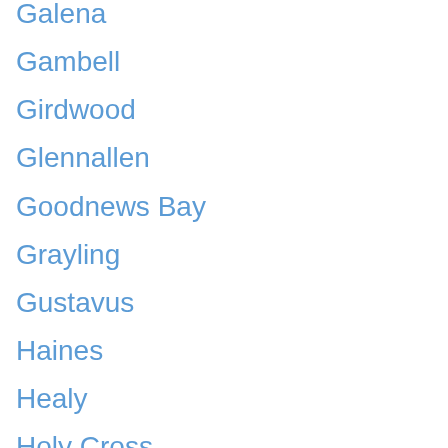Galena
Gambell
Girdwood
Glennallen
Goodnews Bay
Grayling
Gustavus
Haines
Healy
Holy Cross
Homer
Hoonah
Hooper Bay
Hope
Houston
Hughes
Huslia
Hydaburg
Hyder
Iliamna
Indian
Juneau
Kake